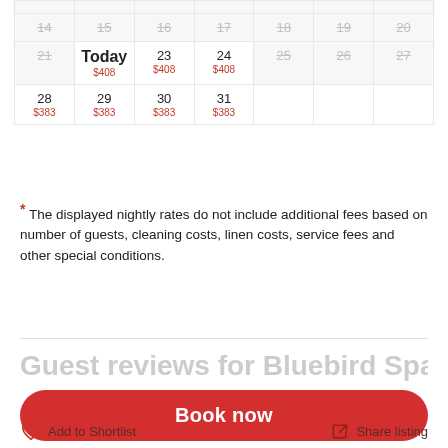| Sun | Mon | Tue | Wed | Thu | Fri | Sat |
| --- | --- | --- | --- | --- | --- | --- |
|  |  |  |  |  |  |  |
| 14 | 15 | 16 | 17 | 18 | 19 | 20 |
| 21 | Today $408 | 23 $408 | 24 $408 | 25 | 26 | 27 |
| 28 $383 | 29 $383 | 30 $383 | 31 $383 |  |  |  |
* The displayed nightly rates do not include additional fees based on number of guests, cleaning costs, linen costs, service fees and other special conditions.
Guest reviews for Bluebird Spa Chalet
Book now
Add to Shortlist   Share listing